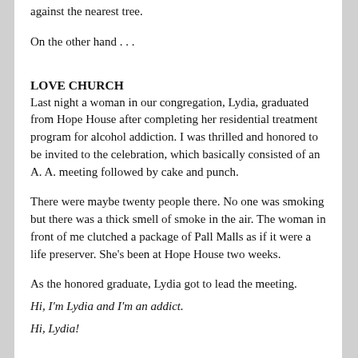The next sound you hear will be me banging my head against the nearest tree.
On the other hand . . .
LOVE CHURCH
Last night a woman in our congregation, Lydia, graduated from Hope House after completing her residential treatment program for alcohol addiction. I was thrilled and honored to be invited to the celebration, which basically consisted of an A. A. meeting followed by cake and punch.
There were maybe twenty people there. No one was smoking but there was a thick smell of smoke in the air. The woman in front of me clutched a package of Pall Malls as if it were a life preserver. She's been at Hope House two weeks.
As the honored graduate, Lydia got to lead the meeting.
Hi, I'm Lydia and I'm an addict.
Hi, Lydia!